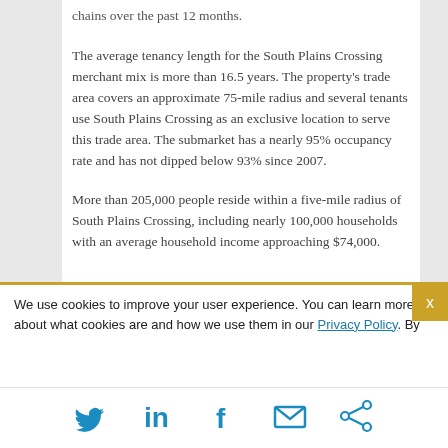chains over the past 12 months.
The average tenancy length for the South Plains Crossing merchant mix is more than 16.5 years. The property's trade area covers an approximate 75-mile radius and several tenants use South Plains Crossing as an exclusive location to serve this trade area. The submarket has a nearly 95% occupancy rate and has not dipped below 93% since 2007.
More than 205,000 people reside within a five-mile radius of South Plains Crossing, including nearly 100,000 households with an average household income approaching $74,000.
We use cookies to improve your user experience. You can learn more about what cookies are and how we use them in our Privacy Policy. By
[Figure (infographic): Social sharing icons: Twitter, LinkedIn, Facebook, Email, Share]